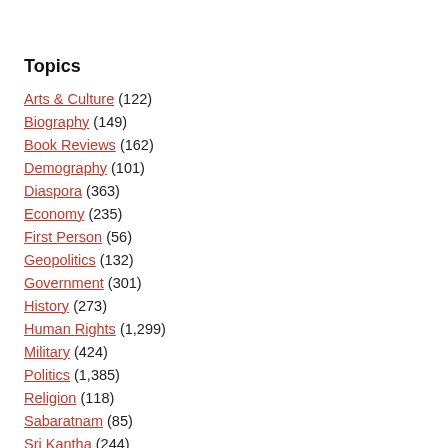Topics
Arts & Culture (122)
Biography (149)
Book Reviews (162)
Demography (101)
Diaspora (363)
Economy (235)
First Person (56)
Geopolitics (132)
Government (301)
History (273)
Human Rights (1,299)
Military (424)
Politics (1,385)
Religion (118)
Sabaratnam (85)
Sri Kantha (244)
Recently Published
The First Thamil Eelam Sports Festival – July 2004